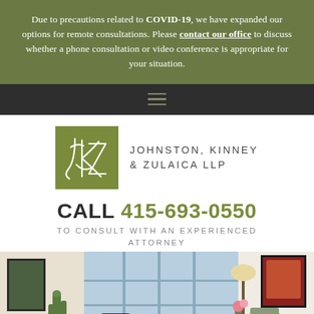Due to precautions related to COVID-19, we have expanded our options for remote consultations. Please contact our office to discuss whether a phone consultation or video conference is appropriate for your situation.
[Figure (logo): Johnston, Kinney & Zulaica LLP law firm logo — olive green square with stylized white script initials JKZ, alongside firm name in spaced uppercase sans-serif]
CALL 415-693-0550
TO CONSULT WITH AN EXPERIENCED ATTORNEY
[Figure (photo): Interior photo of a law office reception area with a curved wooden reception desk, chairs, floor lamp, and framed artwork on the wall]